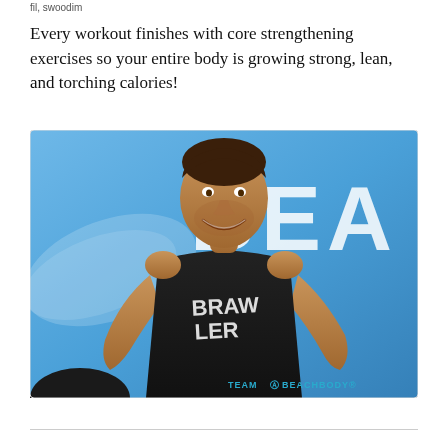fil, swoodim
Every workout finishes with core strengthening exercises so your entire body is growing strong, lean, and torching calories!
[Figure (photo): A smiling muscular man wearing a black sleeveless shirt with 'BRAWLER' written on it, standing in front of a blue background with large white letters 'BEA' visible. A 'TEAM BEACHBODY' watermark is in the lower right corner.]